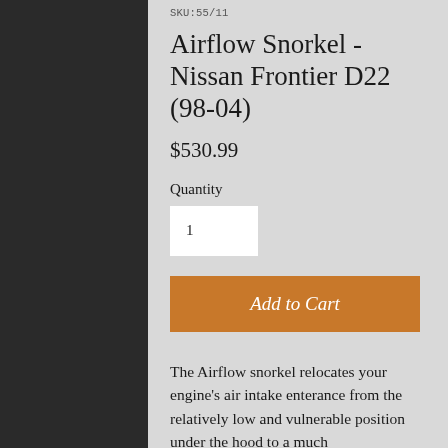SKU: 55/11
Airflow Snorkel - Nissan Frontier D22 (98-04)
$530.99
Quantity
1
Add to Cart
The Airflow snorkel relocates your engine's air intake enterance from the relatively low and vulnerable position under the hood to a much